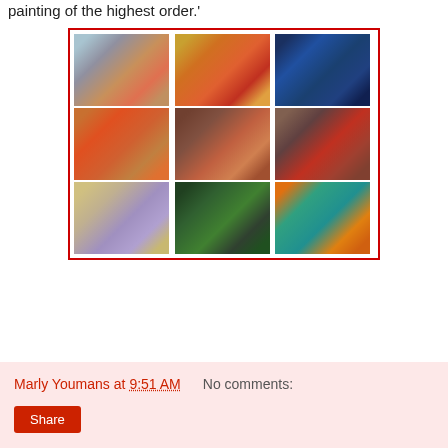painting of the highest order.'
[Figure (photo): A 3x3 grid of images bordered in red. Top row: an abstract figurative painting with blues and oranges; a colorful painting with red and yellow figures; a dark blue painting with figures. Middle row: a painting of red figures on orange background; a photo of a man in a studio; a painting of a red bird on dark background. Bottom row: a pastel painting with blue architectural forms; a photo of a white-haired man outdoors; a colorful painting with teal figures on orange.]
Marly Youmans at 9:51 AM    No comments:
Share